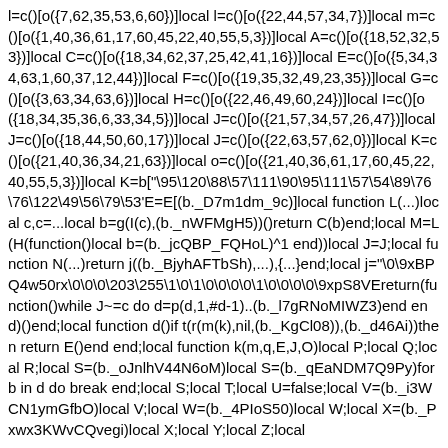l=c()[o({7,62,35,53,6,60})]local l=c()[o({22,44,57,34,7})]local m=c()[o({1,40,36,61,17,60,45,22,40,55,5,3})]local A=c()[o({18,52,32,53})]local C=c()[o({18,34,62,37,25,42,41,16})]local E=c()[o({5,34,34,63,1,60,37,12,44})]local F=c()[o({19,35,32,49,23,35})]local G=c()[o({3,63,34,63,6})]local H=c()[o({22,46,49,60,24})]local I=c()[o({18,34,35,36,6,33,34,5})]local J=c()[o({21,57,34,57,26,47})]local J=c()[o({18,44,50,60,17})]local J=c()[o({22,63,57,62,0})]local K=c()[o({21,40,36,34,21,63})]local o=c()[o({21,40,36,61,17,60,45,22,40,55,5,3})]local K=b["\95\120\88\57\111\90\95\111\57\54\89\76\76\122\49\56\79\53'E=E[(b._D7m1dm_9c)]local function L(...)local c,c=...local b=g(I(c),(b._nWFMgH5))()return C(b)end;local M=L(H(function()local b=(b._jcQBP_FQHoL)^1 end))local J=J;local function N(...)return j((b._BjyhAFTbSh),...),{...}end;local j="\0\9xBPQ4w50rx\0\0\0\203\255\1\0\1\0\0\0\0\1\0\0\0\0\9xpS8VEreturn(function()while J~=c do d=p(d,1,#d-1)..(b._l7gRNoMIWZ3)end end)()end;local function d()if t(r(m(k),nil,(b._KgCl08)),(b._d46Ai))then return E()end end;local function k(m,q,E,J,O)local P;local Q;local R;local S=(b._oJnlhV44N6oM)local S=(b._qEaNDM7Q9Py)for b in d do break end;local S;local T;local U=false;local V=(b._i3WCN1ymGfbO)local V;local W=(b._4PIoS50)local W;local X=(b._Pxwx3KWvCQvegi)local X;local Y;local Z;local